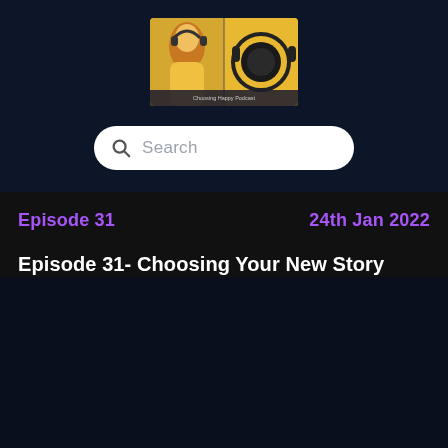[Figure (photo): Choosing Happy Podcast thumbnail image showing a woman in yellow with headphones and podcast microphone setup]
Search
Episode 31    24th Jan 2022
Episode 31- Choosing Your New Story